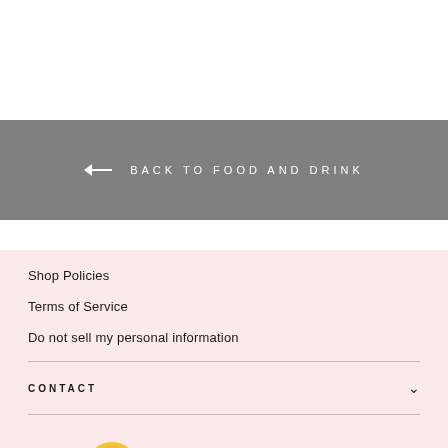← BACK TO FOOD AND DRINK
Shop Policies
Terms of Service
Do not sell my personal information
CONTACT
LET'S GET IN TOUCH!
[Figure (logo): Notification app icon with gold coin on pink background]
American Express, Apple Pay, Diners Club, Discover, Google Pay, Mastercard, PayPal, Shop Pay, Visa payment icons